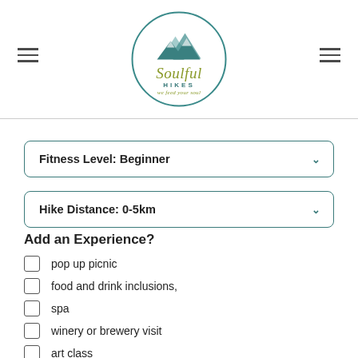Soulful Hikes – we feed your soul
Fitness Level: Beginner
Hike Distance: 0-5km
Add an Experience?
pop up picnic
food and drink inclusions,
spa
winery or brewery visit
art class
yoga/meditation